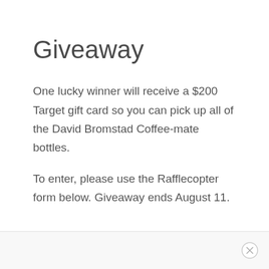Giveaway
One lucky winner will receive a $200 Target gift card so you can pick up all of the David Bromstad Coffee-mate bottles.
To enter, please use the Rafflecopter form below. Giveaway ends August 11.